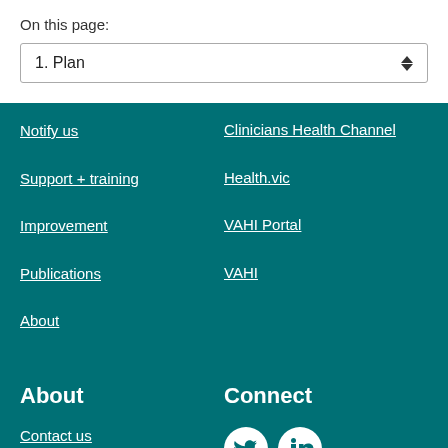On this page:
1. Plan
Notify us
Support + training
Improvement
Publications
About
Clinicians Health Channel
Health.vic
VAHI Portal
VAHI
About
Connect
Contact us
[Figure (illustration): Twitter and LinkedIn social media icons in white on teal background]